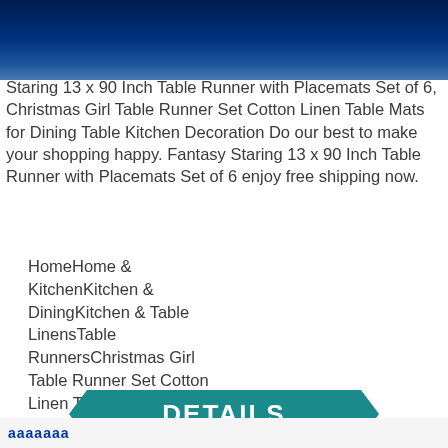[Figure (other): Dark navy blue gradient header bar at top of page]
Staring 13 x 90 Inch Table Runner with Placemats Set of 6, Christmas Girl Table Runner Set Cotton Linen Table Mats for Dining Table Kitchen Decoration Do our best to make your shopping happy. Fantasy Staring 13 x 90 Inch Table Runner with Placemats Set of 6 enjoy free shipping now.
HomeHome & KitchenKitchen & DiningKitchen & Table LinensTable RunnersChristmas Girl Table Runner Set Cotton Linen Table Mats for Dining Table Kitchen Decoration Fantasy Staring 13 x 90 Inch Table Runner with Placemats Set of 6
[Figure (other): Teal pentagon/arrow shaped button with text DETAILS]
aaaaaaa